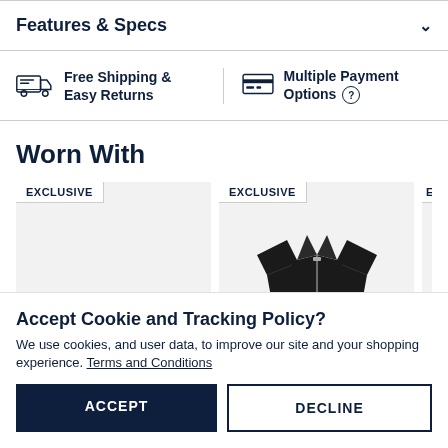Features & Specs
Free Shipping & Easy Returns
Multiple Payment Options
Worn With
[Figure (photo): Product cards showing 'EXCLUSIVE' tagged items including a black jacket]
Accept Cookie and Tracking Policy?
We use cookies, and user data, to improve our site and your shopping experience. Terms and Conditions
ACCEPT
DECLINE